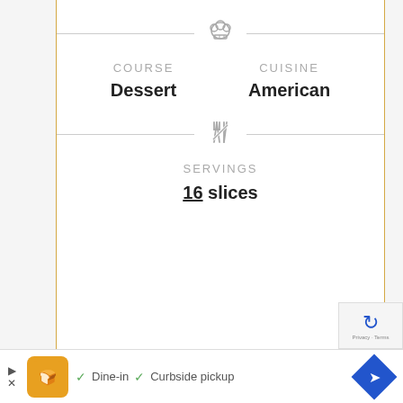[Figure (infographic): Recipe info card showing Course: Dessert, Cuisine: American, Servings: 16 slices with chef hat and utensils icons]
COURSE
Dessert
CUISINE
American
SERVINGS
16 slices
Dine-in  ✓  Curbside pickup